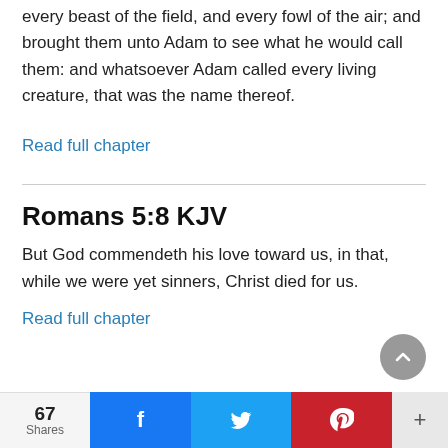every beast of the field, and every fowl of the air; and brought them unto Adam to see what he would call them: and whatsoever Adam called every living creature, that was the name thereof.
Read full chapter
Romans 5:8 KJV
But God commendeth his love toward us, in that, while we were yet sinners, Christ died for us.
Read full chapter
67 Shares  [Facebook] [Twitter] [Pinterest] [+]